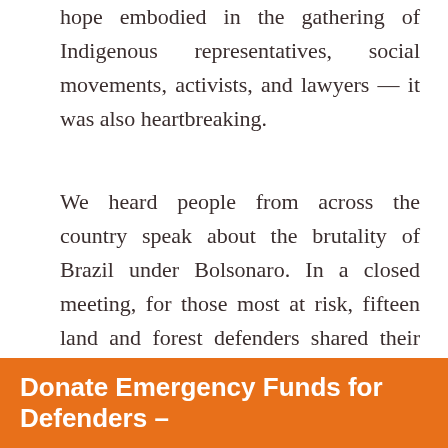hope embodied in the gathering of Indigenous representatives, social movements, activists, and lawyers — it was also heartbreaking.
We heard people from across the country speak about the brutality of Brazil under Bolsonaro. In a closed meeting, for those most at risk, fifteen land and forest defenders shared their stories. Over twenty at the meeting were facing death threats.
Donate Emergency Funds for Defenders –